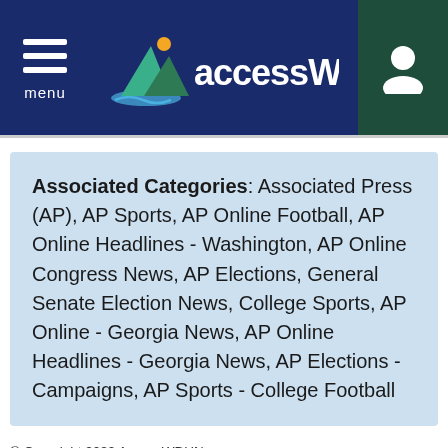menu | accessWDUN
Associated Categories: Associated Press (AP), AP Sports, AP Online Football, AP Online Headlines - Washington, AP Online Congress News, AP Elections, General Senate Election News, College Sports, AP Online - Georgia News, AP Online Headlines - Georgia News, AP Elections - Campaigns, AP Sports - College Football
© Copyright 2022 AccessWDUN.com
All rights reserved. This material may not be published, broadcast, rewritten, or redistributed without permission.